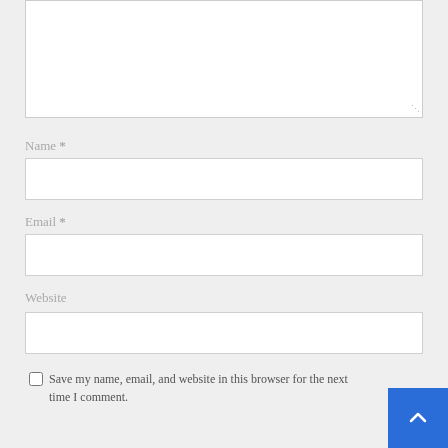[Figure (screenshot): Textarea input box (comment field), partially visible at top]
Name *
[Figure (screenshot): Name input text field, empty]
Email *
[Figure (screenshot): Email input text field, empty]
Website
[Figure (screenshot): Website input text field, empty]
Save my name, email, and website in this browser for the next time I comment.